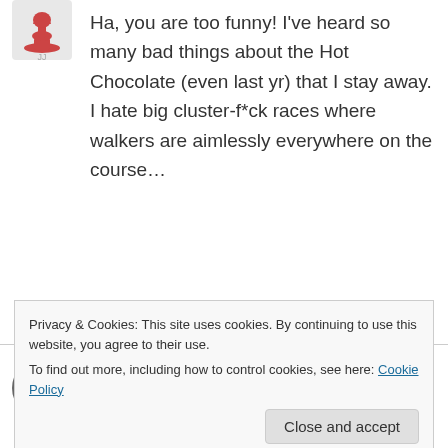Ha, you are too funny! I've heard so many bad things about the Hot Chocolate (even last yr) that I stay away. I hate big cluster-f*ck races where walkers are aimlessly everywhere on the course…
↳ Reply
kandjcolorado on November 5, 2012 at 10:03 pm
Privacy & Cookies: This site uses cookies. By continuing to use this website, you agree to their use.
To find out more, including how to control cookies, see here: Cookie Policy
Close and accept
another race out there. Great running, though.